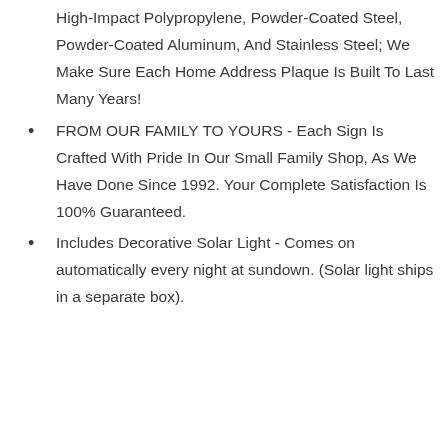High-Impact Polypropylene, Powder-Coated Steel, Powder-Coated Aluminum, And Stainless Steel; We Make Sure Each Home Address Plaque Is Built To Last Many Years!
FROM OUR FAMILY TO YOURS - Each Sign Is Crafted With Pride In Our Small Family Shop, As We Have Done Since 1992. Your Complete Satisfaction Is 100% Guaranteed.
Includes Decorative Solar Light - Comes on automatically every night at sundown. (Solar light ships in a separate box).